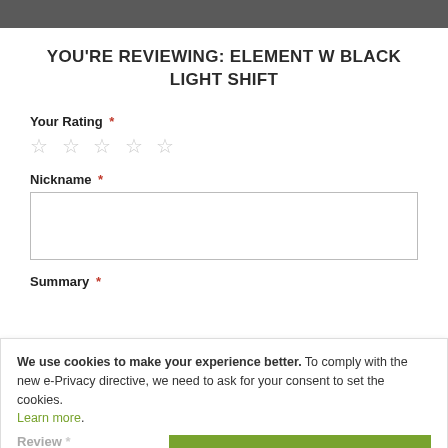YOU'RE REVIEWING: ELEMENT W BLACK LIGHT SHIFT
Your Rating *
[Figure (other): Five empty star rating icons]
Nickname *
Summary *
We use cookies to make your experience better. To comply with the new e-Privacy directive, we need to ask for your consent to set the cookies. Learn more.
Review *
ALLOW COOKIES